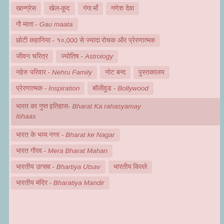खान्ग्रेस   खेल-कूद   गंगा माँ   गणेश देवा
गौ माता - Gau maata
छोटी कहानिया - १०,000 से ज्यादा रोचक और प्रेरणात्मक
जीवन चरित्र   ज्योतिष - Astrology
नहेरु परिवार - Nehru Family   नोट बन्द   पुस्तकालय
प्रेरणात्मक - Inspiration   बॉलीवुड - Bollywood
भारत का गुप्त इतिहास- Bharat Ka rahasyamay Itihaas
भारत के भव्य नगर - Bharat ke Nagar
भारत गौरव - Mera Bharat Mahan
भारतीय उत्सव - Bhartiya Utsav   भारतीय किल्ले
भारतीय मंदिर - Bharatiya Mandir